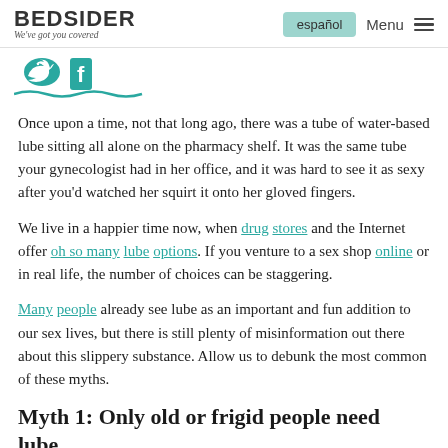BEDSIDER We've got you covered | español | Menu
[Figure (illustration): Twitter bird icon and Facebook 'f' icon in teal, with a teal wavy underline]
Once upon a time, not that long ago, there was a tube of water-based lube sitting all alone on the pharmacy shelf. It was the same tube your gynecologist had in her office, and it was hard to see it as sexy after you'd watched her squirt it onto her gloved fingers.
We live in a happier time now, when drug stores and the Internet offer oh so many lube options. If you venture to a sex shop online or in real life, the number of choices can be staggering.
Many people already see lube as an important and fun addition to our sex lives, but there is still plenty of misinformation out there about this slippery substance. Allow us to debunk the most common of these myths.
Myth 1: Only old or frigid people need lube.